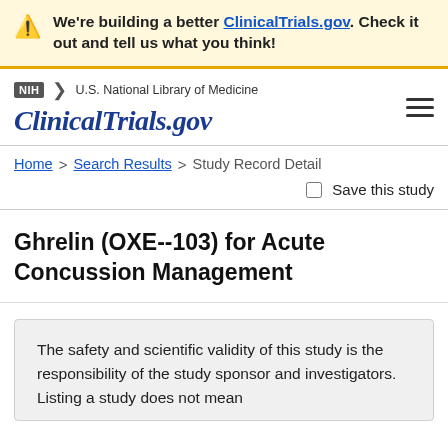We're building a better ClinicalTrials.gov. Check it out and tell us what you think!
[Figure (logo): NIH and ClinicalTrials.gov logo with navigation header]
Home > Search Results > Study Record Detail
Save this study
Ghrelin (OXE--103) for Acute Concussion Management
The safety and scientific validity of this study is the responsibility of the study sponsor and investigators. Listing a study does not mean